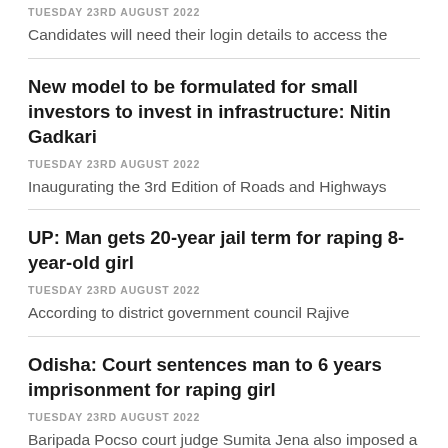TUESDAY 23RD AUGUST 2022
Candidates will need their login details to access the
New model to be formulated for small investors to invest in infrastructure: Nitin Gadkari
TUESDAY 23RD AUGUST 2022
Inaugurating the 3rd Edition of Roads and Highways
UP: Man gets 20-year jail term for raping 8-year-old girl
TUESDAY 23RD AUGUST 2022
According to district government council Rajive
Odisha: Court sentences man to 6 years imprisonment for raping girl
TUESDAY 23RD AUGUST 2022
Baripada Pocso court judge Sumita Jena also imposed a